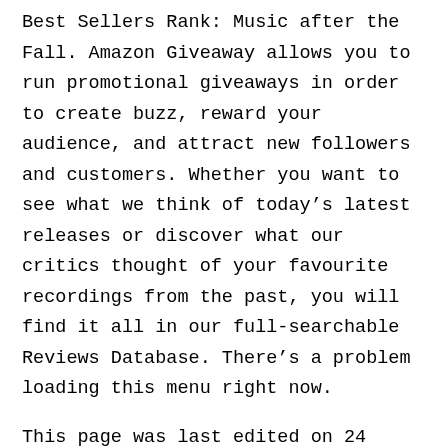Best Sellers Rank: Music after the Fall. Amazon Giveaway allows you to run promotional giveaways in order to create buzz, reward your audience, and attract new followers and customers. Whether you want to see what we think of today’s latest releases or discover what our critics thought of your favourite recordings from the past, you will find it all in our full-searchable Reviews Database. There’s a problem loading this menu right now.
This page was last edited on 24 Novemberat Only 2 left in stock more on the way. Amazon Renewed Refurbished